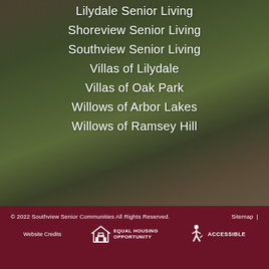Lilydale Senior Living
Shoreview Senior Living
Southview Senior Living
Villas of Lilydale
Villas of Oak Park
Willows of Arbor Lakes
Willows of Ramsey Hill
© 2022 Southview Senior Communities All Rights Reserved.   Sitemap  |   Website Credits   EQUAL HOUSING OPPORTUNITY   ACCESSIBLE